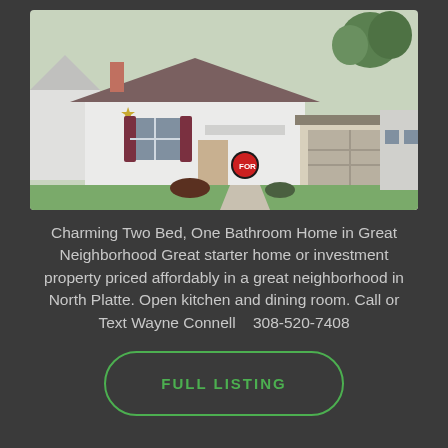[Figure (photo): Exterior photo of a small white ranch-style house with dark red shutters, a gold star decoration, a for-sale sign in the yard, green lawn, and a detached garage visible to the right.]
Charming Two Bed, One Bathroom Home in Great Neighborhood Great starter home or investment property priced affordably in a great neighborhood in North Platte. Open kitchen and dining room. Call or Text Wayne Connell   308-520-7408
FULL LISTING